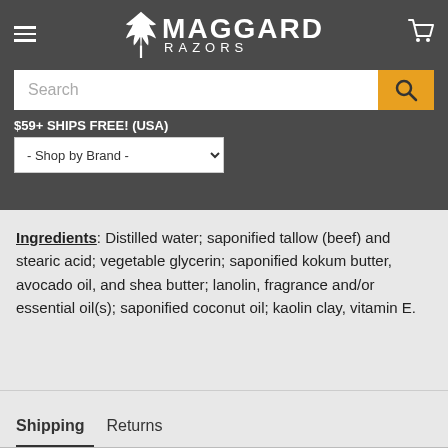[Figure (logo): Maggard Razors logo with maple leaf icon, white text on dark grey background, with hamburger menu and cart icon]
[Figure (screenshot): Search bar with orange search button]
$59+ SHIPS FREE! (USA)
[Figure (screenshot): Shop by Brand dropdown selector]
Ingredients: Distilled water; saponified tallow (beef) and stearic acid; vegetable glycerin; saponified kokum butter, avocado oil, and shea butter; lanolin, fragrance and/or essential oil(s); saponified coconut oil; kaolin clay, vitamin E.
Shipping | Returns